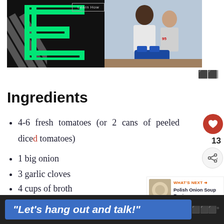[Figure (photo): Advertisement banner with black background, green E-bracket logo, diagonal stripe pattern on left, and photo of adult man and child working on a toy car/robot. 'Learn How' button visible at top.]
Ingredients
4-6 fresh tomatoes (or 2 cans of peeled diced tomatoes)
1 big onion
3 garlic cloves
4 cups of broth
4 oz of uncooked rice or pasta
oil, salt, pepper
[Figure (screenshot): WHAT'S NEXT arrow label with thumbnail of Polish Onion Soup and text 'Polish Onion Soup Recipe...']
"Let's hang out and talk!"